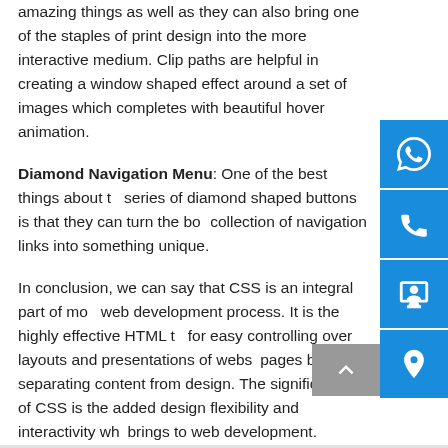amazing things as well as they can also bring one of the staples of print design into the more interactive medium. Clip paths are helpful in creating a window shaped effect around a set of images which completes with beautiful hover animation.
Diamond Navigation Menu: One of the best things about the series of diamond shaped buttons is that they can turn the boring collection of navigation links into something unique.
In conclusion, we can say that CSS is an integral part of modern web development process. It is the highly effective HTML tool for easy controlling over layouts and presentations of website pages by separating content from design. The significant benefit of CSS is the added design flexibility and interactivity which brings to web development.
[Figure (other): Sidebar with four blue icon buttons: WhatsApp, phone, contact form, location pin. Plus a grey scroll-to-top arrow button.]